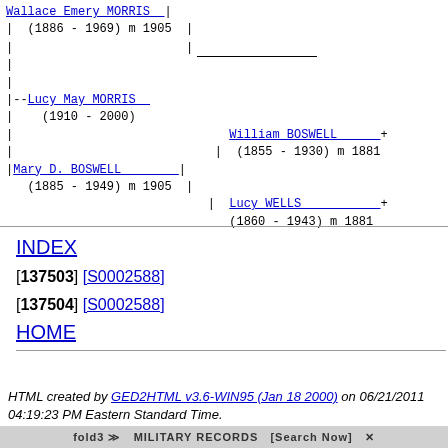[Figure (other): Genealogy family tree diagram showing Wallace Emery MORRIS (1886-1969) m 1905, Lucy May MORRIS (1910-2000), Mary D. BOSWELL (1885-1949) m 1905, William BOSWELL (1855-1930) m 1881 +, Lucy WELLS (1860-1943) m 1881 +]
INDEX
[137503] [S0002588]
[137504] [S0002588]
HOME
HTML created by GED2HTML v3.6-WIN95 (Jan 18 2000) on 06/21/2011 04:19:23 PM Eastern Standard Time.